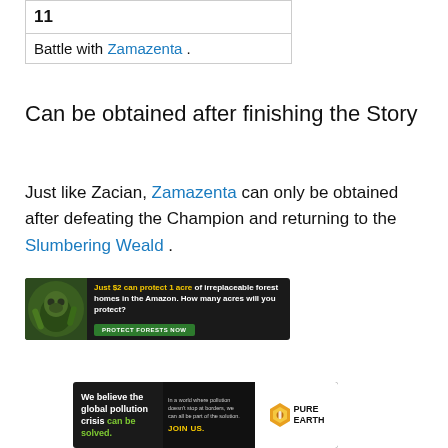| 11 |
| Battle with Zamazenta. |
Can be obtained after finishing the Story
Just like Zacian, Zamazenta can only be obtained after defeating the Champion and returning to the Slumbering Weald.
[Figure (infographic): Advertisement banner: Just $2 can protect 1 acre of irreplaceable forest homes in the Amazon. How many acres will you protect? PROTECT FORESTS NOW]
[Figure (infographic): Advertisement banner: We believe the global pollution crisis can be solved. In a world where pollution doesn't stop at borders, we can all be part of the solution. JOIN US. PURE EARTH logo.]